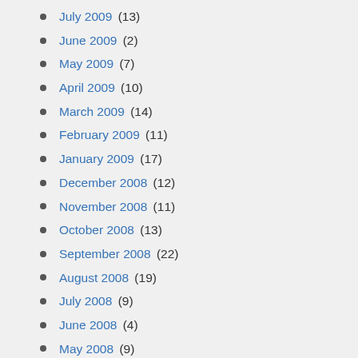July 2009 (13)
June 2009 (2)
May 2009 (7)
April 2009 (10)
March 2009 (14)
February 2009 (11)
January 2009 (17)
December 2008 (12)
November 2008 (11)
October 2008 (13)
September 2008 (22)
August 2008 (19)
July 2008 (9)
June 2008 (4)
May 2008 (9)
April 2008 (12)
March 2008 (9)
February 2008 (19)